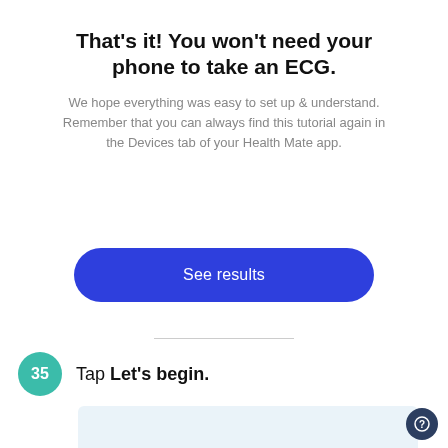That’s it! You won't need your phone to take an ECG.
We hope everything was easy to set up & understand. Remember that you can always find this tutorial again in the Devices tab of your Health Mate app.
[Figure (screenshot): Blue rounded button labeled 'See results']
35  Tap Let’s begin.
[Figure (screenshot): Light blue screenshot area showing app screen]